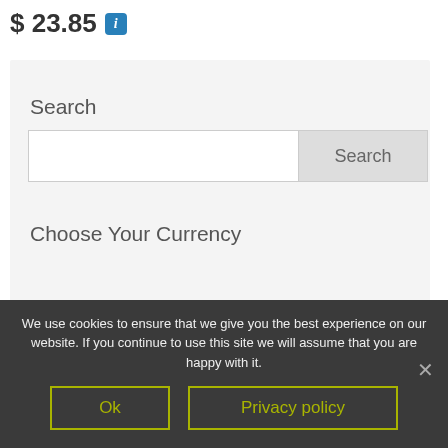$ 23.85 ℹ
Search
[Figure (screenshot): Search input field with Search button]
Choose Your Currency
We use cookies to ensure that we give you the best experience on our website. If you continue to use this site we will assume that you are happy with it.
Ok
Privacy policy